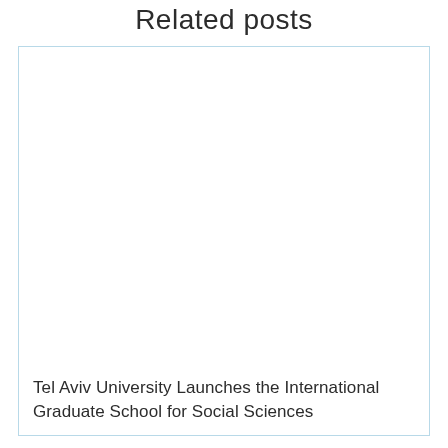Related posts
Tel Aviv University Launches the International Graduate School for Social Sciences